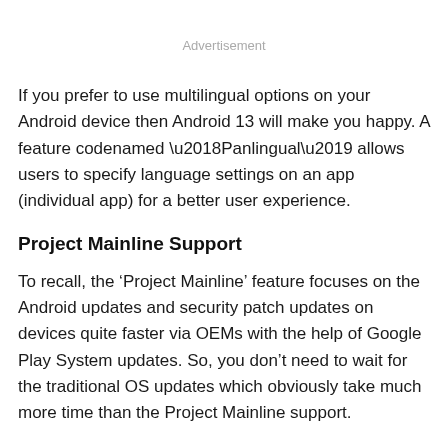Advertisement
If you prefer to use multilingual options on your Android device then Android 13 will make you happy. A feature codenamed ‘Panlingual’ allows users to specify language settings on an app (individual app) for a better user experience.
Project Mainline Support
To recall, the ‘Project Mainline’ feature focuses on the Android updates and security patch updates on devices quite faster via OEMs with the help of Google Play System updates. So, you don’t need to wait for the traditional OS updates which obviously take much more time than the Project Mainline support.